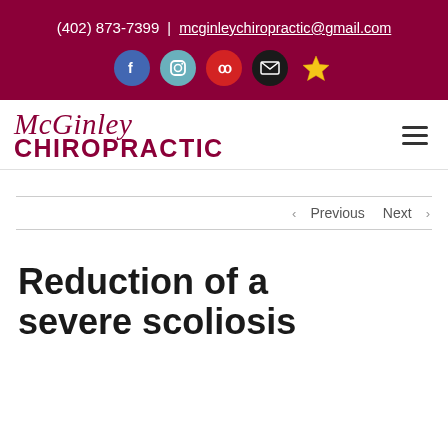(402) 873-7399 | mcginleychiropractic@gmail.com
[Figure (logo): McGinley Chiropractic logo with script McGinley text above bold CHIROPRACTIC text, in dark red/maroon color]
< Previous   Next >
Reduction of a severe scoliosis